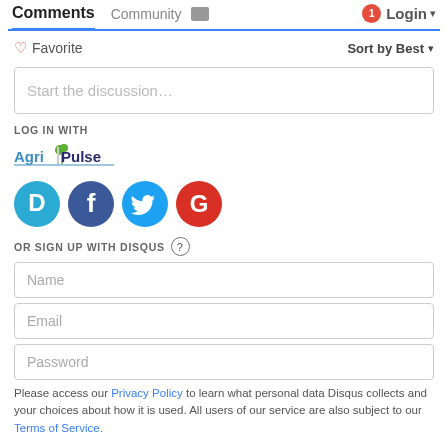Comments  Community  Login
♡ Favorite  Sort by Best
Start the discussion…
LOG IN WITH
[Figure (logo): AgriPulse logo with green leaf and blue/dark text]
[Figure (logo): Social login icons: Disqus (blue D), Facebook (dark blue f), Twitter (blue bird), Google (red G)]
OR SIGN UP WITH DISQUS ?
Name
Email
Password
Please access our Privacy Policy to learn what personal data Disqus collects and your choices about how it is used. All users of our service are also subject to our Terms of Service.